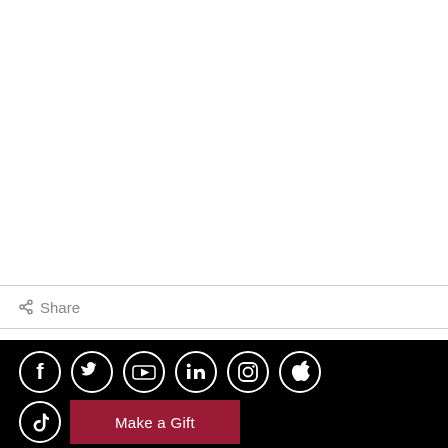Share
[Figure (infographic): Row of social media icons (Facebook, Twitter, YouTube, LinkedIn, Instagram, Apple) and a second row with TikTok icon and a 'Make a Gift' button, all on black background]
Make a Gift